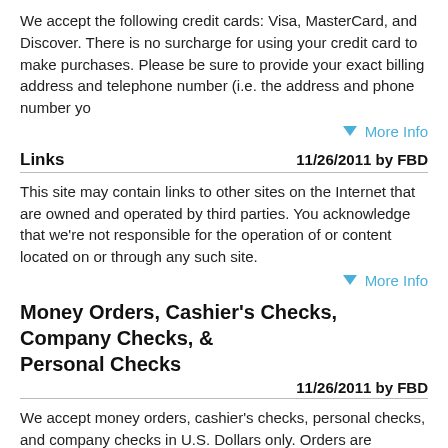We accept the following credit cards: Visa, MasterCard, and Discover. There is no surcharge for using your credit card to make purchases. Please be sure to provide your exact billing address and telephone number (i.e. the address and phone number yo
▼ More Info
Links   11/26/2011 by FBD
This site may contain links to other sites on the Internet that are owned and operated by third parties. You acknowledge that we're not responsible for the operation of or content located on or through any such site.
▼ More Info
Money Orders, Cashier's Checks, Company Checks, & Personal Checks
11/26/2011 by FBD
We accept money orders, cashier's checks, personal checks, and company checks in U.S. Dollars only. Orders are processed upon receipt of a money order or cashier's check. For personal and company checks, please allow up to 10 banking days after recei
▼ More Info